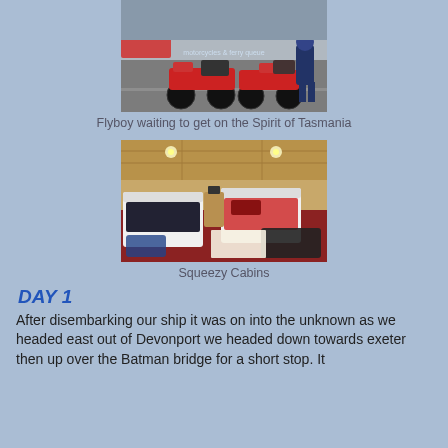[Figure (photo): Red motorcycles parked at a roadside, with a person in motorcycle gear standing beside them, waiting to board the Spirit of Tasmania ferry.]
Flyboy waiting to get on the Spirit of Tasmania
[Figure (photo): A small, cramped ship cabin with two single beds, gear and motorcycle clothing scattered across them, and luggage on the floor.]
Squeezy Cabins
DAY 1
After disembarking our ship it was on into the unknown as we headed east out of Devonport we headed down towards exeter then up over the Batman bridge for a short stop. It